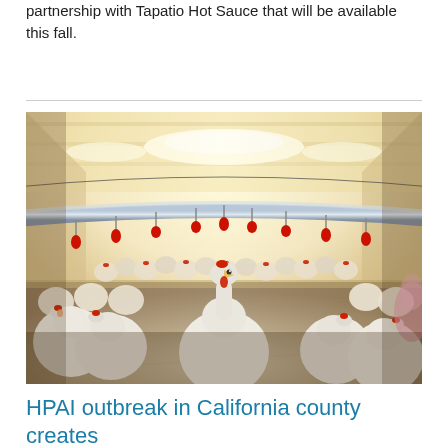partnership with Tapatio Hot Sauce that will be available this fall.
[Figure (photo): Interior of a commercial chicken farm showing hundreds of white broiler chickens under bright lighting, with red automatic drinking nipples along a horizontal water pipe in the foreground.]
HPAI outbreak in California county creates